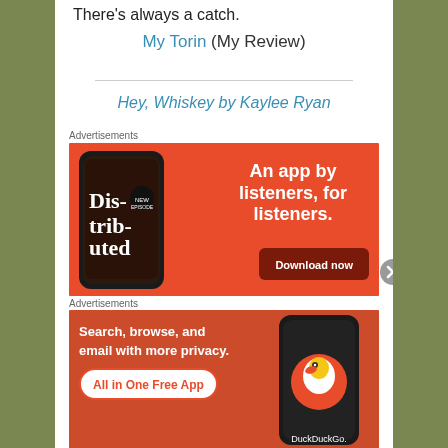There's always a catch.
My Torin (My Review)
Hey, Whiskey by Kaylee Ryan
Advertisements
[Figure (infographic): Red advertisement banner for a podcast app: shows a smartphone with 'Distributed' podcast app, text 'An app by listeners, for listeners.' and a 'Download now' button.]
Advertisements
[Figure (infographic): Orange DuckDuckGo advertisement: 'Search, browse, and email with more privacy. All in One Free App' with DuckDuckGo logo on a smartphone.]